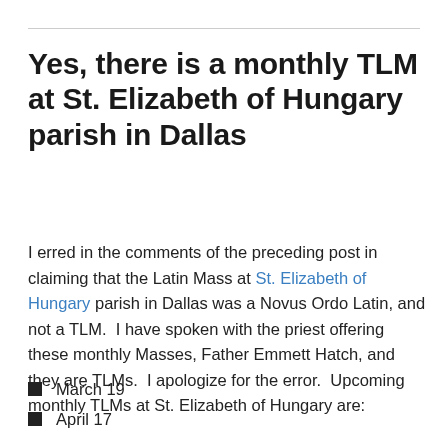Yes, there is a monthly TLM at St. Elizabeth of Hungary parish in Dallas
I erred in the comments of the preceding post in claiming that the Latin Mass at St. Elizabeth of Hungary parish in Dallas was a Novus Ordo Latin, and not a TLM.  I have spoken with the priest offering these monthly Masses, Father Emmett Hatch, and they are TLMs.  I apologize for the error.  Upcoming monthly TLMs at St. Elizabeth of Hungary are:
March 19
April 17